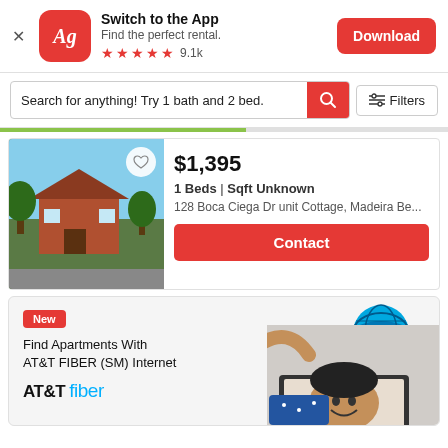[Figure (screenshot): App download banner with Apartments.com (Ag) logo, Switch to the App headline, Find the perfect rental subtitle, 5 stars rating with 9.1k reviews, and red Download button]
Search for anything! Try 1 bath and 2 bed.
$1,395
1 Beds | Sqft Unknown
128 Boca Ciega Dr unit Cottage, Madeira Be...
Contact
New
Find Apartments With AT&T FIBER (SM) Internet
AT&T fiber